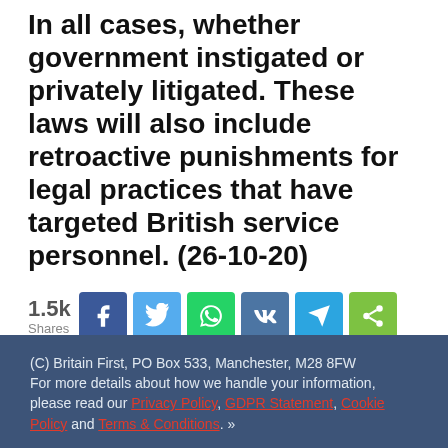In all cases, whether government instigated or privately litigated. These laws will also include retroactive punishments for legal practices that have targeted British service personnel. (26-10-20)
[Figure (infographic): Social share buttons row showing 1.5k Shares count, followed by Facebook, Twitter, WhatsApp, VK, Telegram, and generic share icon buttons]
(C) Britain First, PO Box 533, Manchester, M28 8FW
For more details about how we handle your information, please read our Privacy Policy, GDPR Statement, Cookie Policy and Terms & Conditions. »